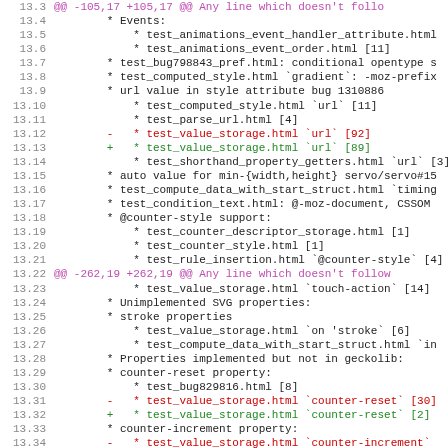[Figure (screenshot): Code diff view showing lines 13.3 through 13.35 of a patch file with line numbers, diff markers (@@, +, -), and code content in monospace font. Red lines indicate deletions, green lines indicate additions, and purple lines indicate diff headers.]